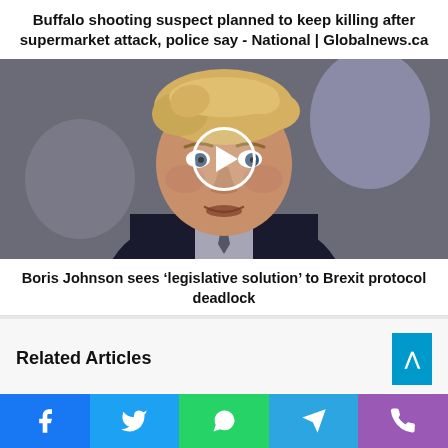Buffalo shooting suspect planned to keep killing after supermarket attack, police say - National | Globalnews.ca
[Figure (photo): Video thumbnail showing a man with blonde disheveled hair in a dark suit, with a white circular play button overlay in the center. Background shows blurred figures.]
Boris Johnson sees ‘legislative solution’ to Brexit protocol deadlock
Related Articles